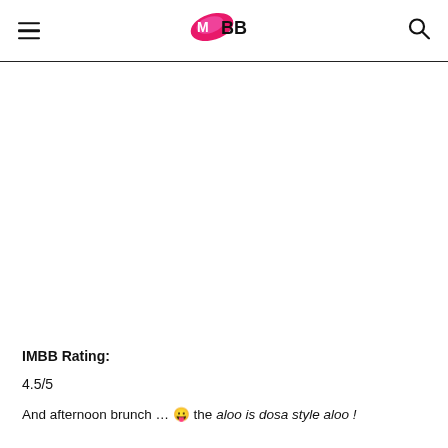IMBB
[Figure (photo): Blank white image area below the header]
IMBB Rating:
4.5/5
And afternoon brunch … 😛 the aloo is dosa style aloo !